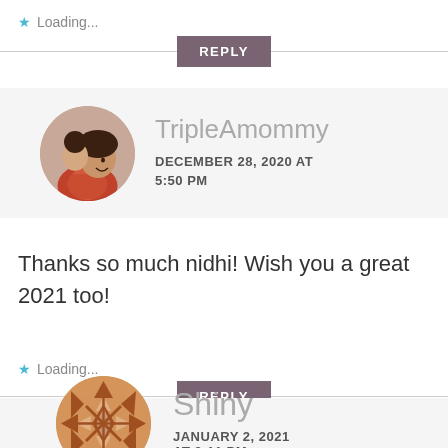Loading...
REPLY
[Figure (photo): Circular avatar photo of a woman (TripleAmommy) with a child, both smiling]
TripleAmommy
DECEMBER 28, 2020 AT 5:50 PM
Thanks so much nidhi! Wish you a great 2021 too!
Loading...
REPLY
[Figure (logo): Circular geometric mandala/pattern logo in brown for user Shiny]
Shiny
JANUARY 2, 2021 AT 9:11 PM